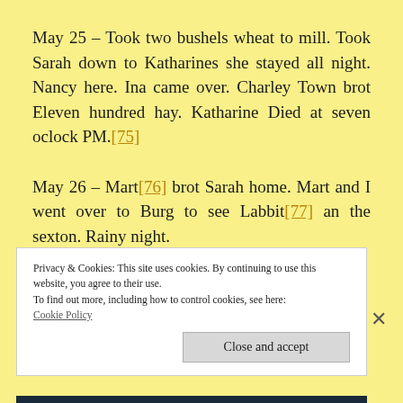May 25 – Took two bushels wheat to mill. Took Sarah down to Katharines she stayed all night. Nancy here. Ina came over. Charley Town brot Eleven hundred hay. Katharine Died at seven oclock PM.[75]
May 26 – Mart[76] brot Sarah home. Mart and I went over to Burg to see Labbit[77] an the sexton. Rainy night.
Privacy & Cookies: This site uses cookies. By continuing to use this website, you agree to their use.
To find out more, including how to control cookies, see here:
Cookie Policy